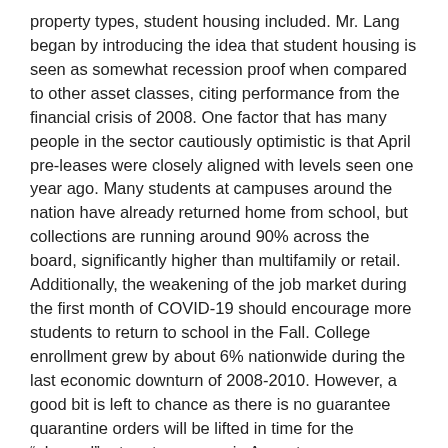property types, student housing included. Mr. Lang began by introducing the idea that student housing is seen as somewhat recession proof when compared to other asset classes, citing performance from the financial crisis of 2008. One factor that has many people in the sector cautiously optimistic is that April pre-leases were closely aligned with levels seen one year ago. Many students at campuses around the nation have already returned home from school, but collections are running around 90% across the board, significantly higher than multifamily or retail. Additionally, the weakening of the job market during the first month of COVID-19 should encourage more students to return to school in the Fall. College enrollment grew by about 6% nationwide during the last economic downturn of 2008-2010. However, a good bit is left to chance as there is no guarantee quarantine orders will be lifted in time for the “planned” return to campus in August.
With regards to transactions in general, Mr. Baird noted that extensions are being given due to uncertainty, with